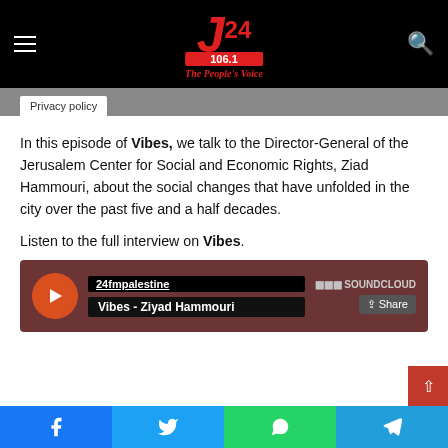J24 106.1 - The People's Voice
Privacy policy
In this episode of Vibes, we talk to the Director-General of the Jerusalem Center for Social and Economic Rights, Ziad Hammouri, about the social changes that have unfolded in the city over the past five and a half decades.
Listen to the full interview on Vibes.
[Figure (other): SoundCloud embedded player showing '24fmpalestine' user and track 'Vibes - Ziyad Hammouri' with play button and share option]
Facebook | Twitter | WhatsApp | Telegram